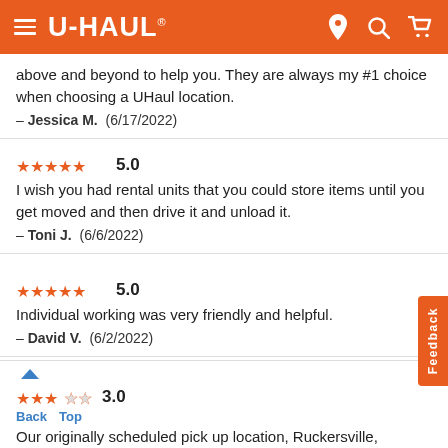U-HAUL navigation header
above and beyond to help you. They are always my #1 choice when choosing a UHaul location.
— Jessica M. (6/17/2022)
5.0
I wish you had rental units that you could store items until you get moved and then drive it and unload it.
— Toni J. (6/6/2022)
5.0
Individual working was very friendly and helpful.
— David V. (6/2/2022)
3.0
Our originally scheduled pick up location, Ruckersville, VA, was a disaster. Availability of truck had been confirmed but there was no